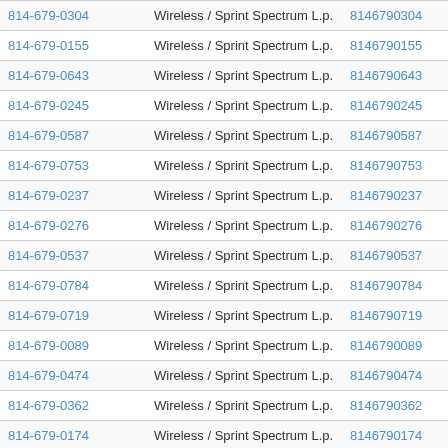| Phone | Carrier | Number | Action |
| --- | --- | --- | --- |
| 814-679-0304 | Wireless / Sprint Spectrum L.p. | 8146790304 | View |
| 814-679-0155 | Wireless / Sprint Spectrum L.p. | 8146790155 | View |
| 814-679-0643 | Wireless / Sprint Spectrum L.p. | 8146790643 | View |
| 814-679-0245 | Wireless / Sprint Spectrum L.p. | 8146790245 | View |
| 814-679-0587 | Wireless / Sprint Spectrum L.p. | 8146790587 | View |
| 814-679-0753 | Wireless / Sprint Spectrum L.p. | 8146790753 | View |
| 814-679-0237 | Wireless / Sprint Spectrum L.p. | 8146790237 | View |
| 814-679-0276 | Wireless / Sprint Spectrum L.p. | 8146790276 | View |
| 814-679-0537 | Wireless / Sprint Spectrum L.p. | 8146790537 | View |
| 814-679-0784 | Wireless / Sprint Spectrum L.p. | 8146790784 | View |
| 814-679-0719 | Wireless / Sprint Spectrum L.p. | 8146790719 | View |
| 814-679-0089 | Wireless / Sprint Spectrum L.p. | 8146790089 | View |
| 814-679-0474 | Wireless / Sprint Spectrum L.p. | 8146790474 | View |
| 814-679-0362 | Wireless / Sprint Spectrum L.p. | 8146790362 | View |
| 814-679-0174 | Wireless / Sprint Spectrum L.p. | 8146790174 | View |
| 814-679-0766 | Wireless / Sprint Spectrum L.p. | 8146790766 | View |
| 814-679-0670 | Wireless / Sprint Spectrum L.p. | 8146790670 | View |
| 814-679-0764 | Wireless / Sprint Spectrum L.p. | 8146790764 | View |